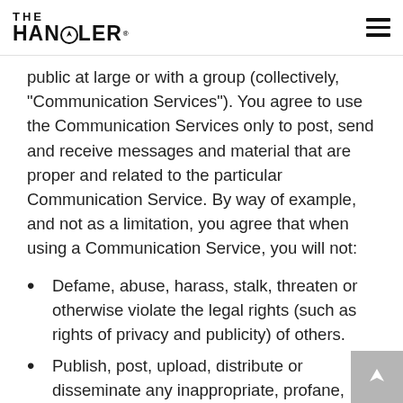THE HANDLER
public at large or with a group (collectively, "Communication Services"). You agree to use the Communication Services only to post, send and receive messages and material that are proper and related to the particular Communication Service. By way of example, and not as a limitation, you agree that when using a Communication Service, you will not:
Defame, abuse, harass, stalk, threaten or otherwise violate the legal rights (such as rights of privacy and publicity) of others.
Publish, post, upload, distribute or disseminate any inappropriate, profane, defamatory, infringing, obscene, indecent or unlawful topic, name, material or information.